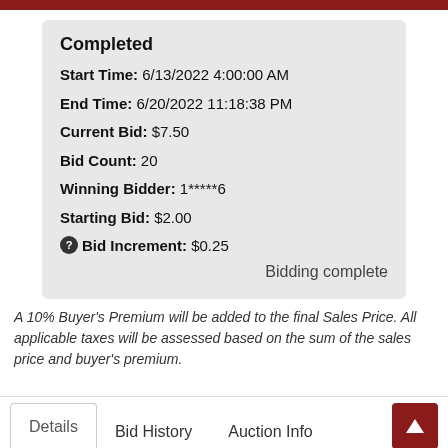Completed
Start Time: 6/13/2022 4:00:00 AM
End Time: 6/20/2022 11:18:38 PM
Current Bid: $7.50
Bid Count: 20
Winning Bidder: 1*****6
Starting Bid: $2.00
Bid Increment: $0.25
Bidding complete
A 10% Buyer's Premium will be added to the final Sales Price. All applicable taxes will be assessed based on the sum of the sales price and buyer's premium.
Details
Bid History
Auction Info